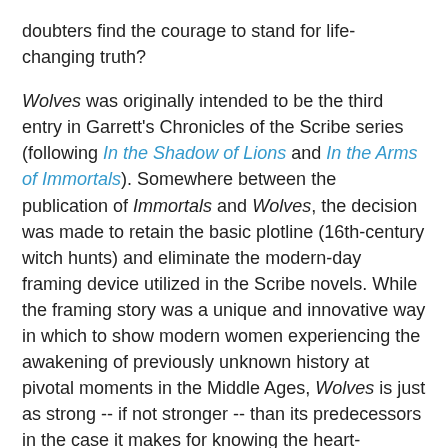doubters find the courage to stand for life-changing truth?
Wolves was originally intended to be the third entry in Garrett's Chronicles of the Scribe series (following In the Shadow of Lions and In the Arms of Immortals). Somewhere between the publication of Immortals and Wolves, the decision was made to retain the basic plotline (16th-century witch hunts) and eliminate the modern-day framing device utilized in the Scribe novels. While the framing story was a unique and innovative way in which to show modern women experiencing the awakening of previously unknown history at pivotal moments in the Middle Ages, Wolves is just as strong -- if not stronger -- than its predecessors in the case it makes for knowing the heart-breaking, empowering sacrifices our ancestral sisters in the faith made so that we can enjoy the freedoms we do today.
Garrett has a gift for illuminating the dark periods of history, for bringing times that seem, on the surface, so foreign to modern sensibilities to life with her vibrant prose. Wolves is a rare novel, one that is simultaneously engrossing, uncomfortable, enraging, and heart-breaking. This is